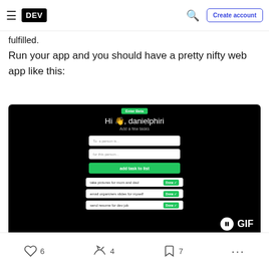DEV — Create account
fulfilled.
Run your app and you should have a pretty nifty web app like this:
[Figure (screenshot): Animated GIF of a to-do web app with dark background. Shows 'Hi 👋, danielphiri', 'Add a few tasks', two input fields, a green 'add task to list' button, and three to-do items: 'take pictures for mom and dad', 'email organizers slides for myself', 'send resume for dev job', each with a green Done button.]
6  4  7  ...